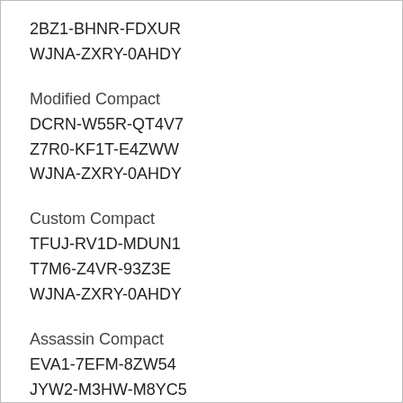2BZ1-BHNR-FDXUR
WJNA-ZXRY-0AHDY
Modified Compact
DCRN-W55R-QT4V7
Z7R0-KF1T-E4ZWW
WJNA-ZXRY-0AHDY
Custom Compact
TFUJ-RV1D-MDUN1
T7M6-Z4VR-93Z3E
WJNA-ZXRY-0AHDY
Assassin Compact
EVA1-7EFM-8ZW54
JYW2-M3HW-M8YC5
WJNA-ZXRY-0AHDY
Compact Prototype
1RUA-26G7-64596
W4MU-G4EX-18UAA